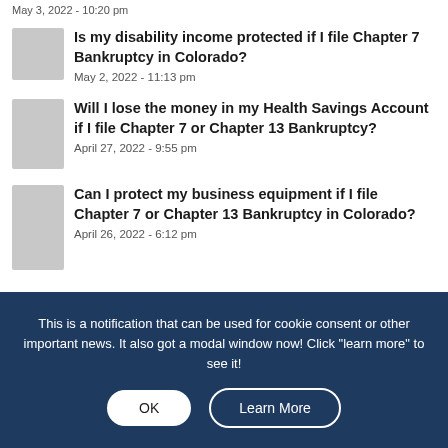May 3, 2022 - 10:20 pm
Is my disability income protected if I file Chapter 7 Bankruptcy in Colorado?
May 2, 2022 - 11:13 pm
Will I lose the money in my Health Savings Account if I file Chapter 7 or Chapter 13 Bankruptcy?
April 27, 2022 - 9:55 pm
Can I protect my business equipment if I file Chapter 7 or Chapter 13 Bankruptcy in Colorado?
April 26, 2022 - 6:12 pm
This is a notification that can be used for cookie consent or other important news. It also got a modal window now! Click "learn more" to see it!